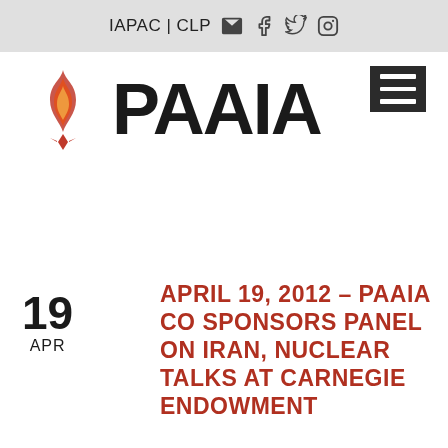IAPAC | CLP
[Figure (logo): PAAIA logo with flame icon and text PAAIA in bold black letters]
APRIL 19, 2012 – PAAIA CO SPONSORS PANEL ON IRAN, NUCLEAR TALKS AT CARNEGIE ENDOWMENT